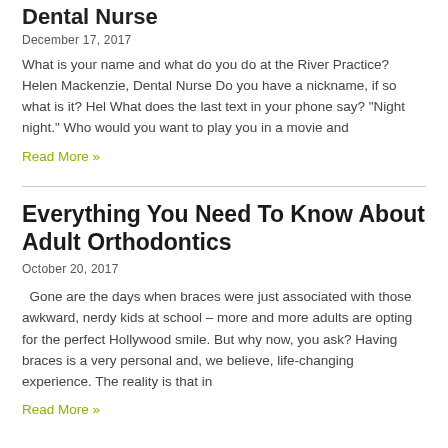Dental Nurse
December 17, 2017
What is your name and what do you do at the River Practice? Helen Mackenzie, Dental Nurse Do you have a nickname, if so what is it? Hel What does the last text in your phone say? "Night night." Who would you want to play you in a movie and
Read More »
Everything You Need To Know About Adult Orthodontics
October 20, 2017
Gone are the days when braces were just associated with those awkward, nerdy kids at school – more and more adults are opting for the perfect Hollywood smile. But why now, you ask? Having braces is a very personal and, we believe, life-changing experience. The reality is that in
Read More »